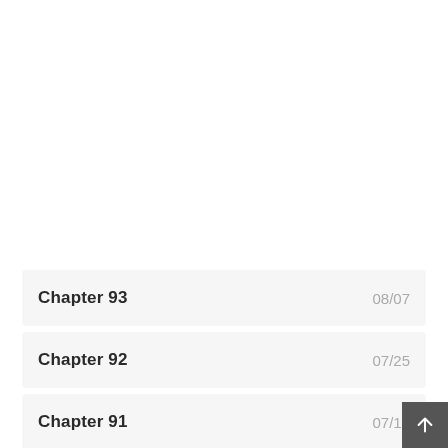Chapter 93  08/07
Chapter 92  07/25
Chapter 91  07/12